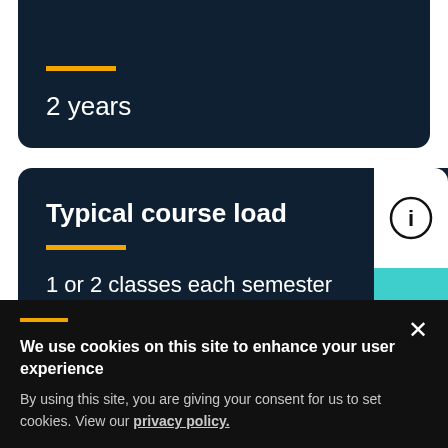2 years
Typical course load
1 or 2 classes each semester
We use cookies on this site to enhance your user experience
By using this site, you are giving your consent for us to set cookies. View our privacy policy.